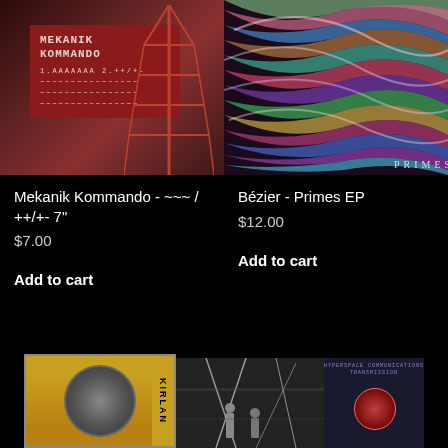[Figure (photo): Mekanik Kommando album cover: industrial red tones with tower structure and red label reading MEKANIK KOMMANDO 1.AAAAAAA 2.++/+-]
[Figure (photo): Bézier - Primes EP album cover: psychedelic swirling colorful waves pattern with PRIMES text at bottom]
Mekanik Kommando - ~~~ / ++/+- 7"
$7.00
Add to cart
Bézier - Primes EP
$12.00
Add to cart
[Figure (photo): Kirlan album cover: golden/yellow background with brain illustration and spine text KIRLAN]
[Figure (photo): Dark album cover with illustrated figures and light streaks]
[Figure (photo): Dark blue album cover with glowing pink/red circle and text]